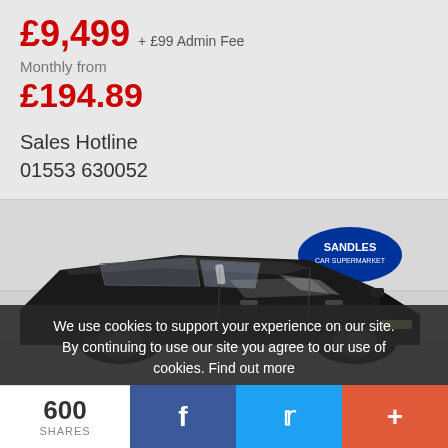£9,499 + £99 Admin Fee
Monthly from £194.89
Sales Hotline
01553 630052
[Figure (photo): Black hatchback car (SEAT or similar) photographed in a dealer showroom with a Sandles Car Supermarket logo visible in the background]
We use cookies to support your experience on our site. By continuing to use our site you agree to our use of cookies. Find out more
600 SHARES
f (Facebook share button)
Twitter share button
+ (More share options)